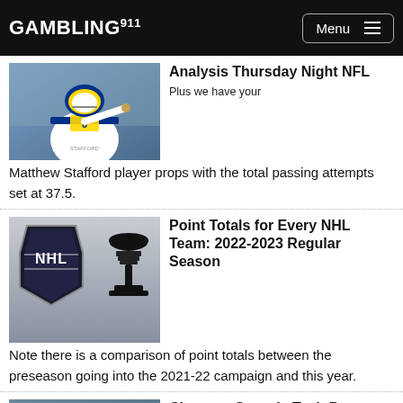GAMBLING911 Menu
[Figure (photo): NFL quarterback Matthew Stafford in LA Rams uniform throwing a pass]
Analysis Thursday Night NFL
Plus we have your Matthew Stafford player props with the total passing attempts set at 37.5.
[Figure (photo): NHL logo shield with Stanley Cup trophy silhouette on grey background]
Point Totals for Every NHL Team: 2022-2023 Regular Season
Note there is a comparison of point totals between the preseason going into the 2021-22 campaign and this year.
[Figure (photo): College football players in game action]
Clemson Georgia Tech Prop Bets